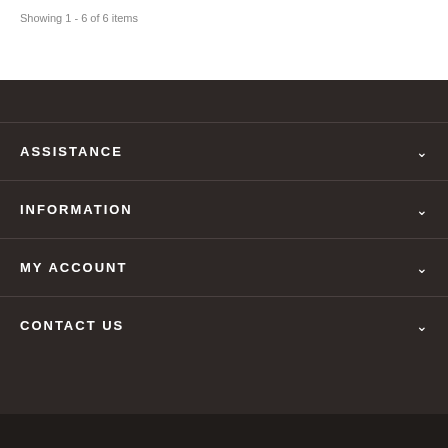Showing 1 - 6 of 6 items
ASSISTANCE
INFORMATION
MY ACCOUNT
CONTACT US
PAYMENT